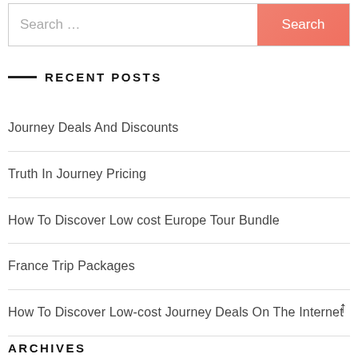[Figure (other): Search bar with placeholder text 'Search ...' and a coral/salmon colored 'Search' button on the right]
RECENT POSTS
Journey Deals And Discounts
Truth In Journey Pricing
How To Discover Low cost Europe Tour Bundle
France Trip Packages
How To Discover Low-cost Journey Deals On The Internet
ARCHIVES